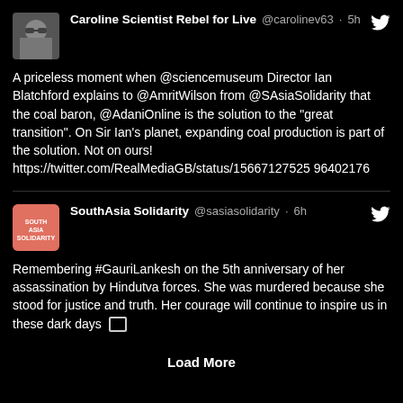Caroline Scientist Rebel for Live @carolinev63 · 5h
A priceless moment when @sciencemuseum Director Ian Blatchford explains to @AmritWilson from @SAsiaSolidarity that the coal baron, @AdaniOnline is the solution to the "great transition". On Sir Ian's planet, expanding coal production is part of the solution. Not on ours! https://twitter.com/RealMediaGB/status/156671275259640 2176
SouthAsia Solidarity @sasiasolidarity · 6h
Remembering #GauriLankesh on the 5th anniversary of her assassination by Hindutva forces. She was murdered because she stood for justice and truth. Her courage will continue to inspire us in these dark days 🖼
Load More